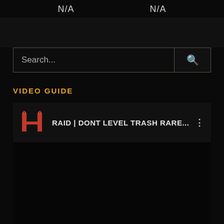N/A   N/A
Search...
VIDEO GUIDE
[Figure (screenshot): Video guide card showing a channel logo (stylized HH in red/orange) and the title 'RAID | DONT LEVEL TRASH RARE...' with a three-dot menu icon on the right, on a dark background.]